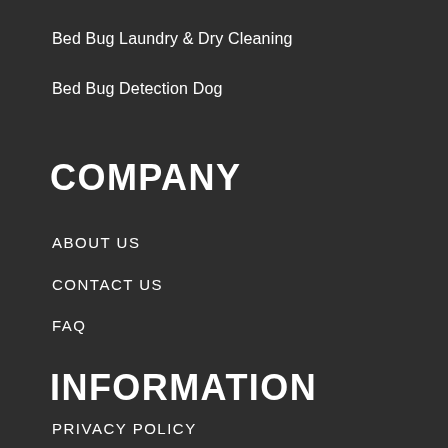Bed Bug Laundry & Dry Cleaning
Bed Bug Detection Dog
COMPANY
ABOUT US
CONTACT US
FAQ
INFORMATION
PRIVACY POLICY